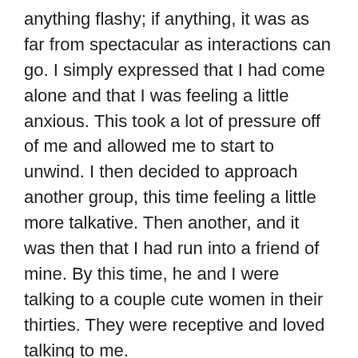anything flashy; if anything, it was as far from spectacular as interactions can go. I simply expressed that I had come alone and that I was feeling a little anxious. This took a lot of pressure off of me and allowed me to start to unwind. I then decided to approach another group, this time feeling a little more talkative. Then another, and it was then that I had run into a friend of mine. By this time, he and I were talking to a couple cute women in their thirties. They were receptive and loved talking to me.
It was then that a student of mine came along. He expressed that he was feeling as anxious as I had been at first, to which I told him he should...